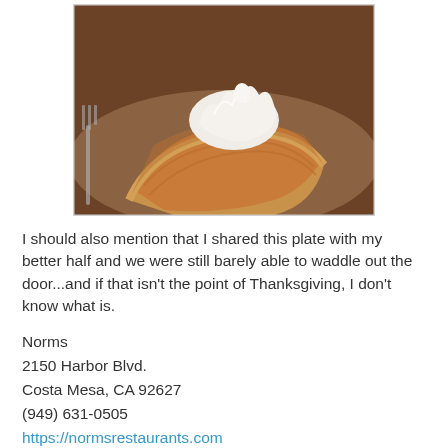[Figure (photo): A slice of pumpkin pie topped with whipped cream on a plate, photographed from above at an angle.]
I should also mention that I shared this plate with my better half and we were still barely able to waddle out the door...and if that isn't the point of Thanksgiving, I don't know what is.
Norms
2150 Harbor Blvd.
Costa Mesa, CA 92627
(949) 631-0505
https://normsrestaurants.com